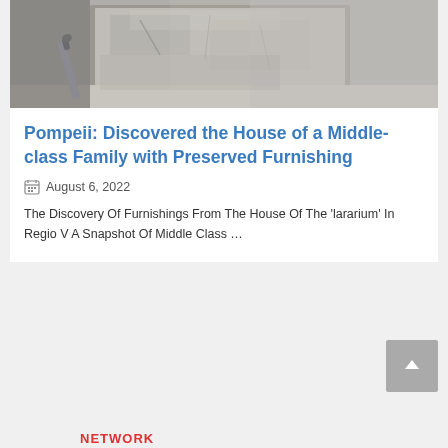[Figure (photo): Archaeological photo showing stone/concrete ruins with a metal rod or pipe partially visible, from Pompeii excavation site]
Pompeii: Discovered the House of a Middle-class Family with Preserved Furnishing
August 6, 2022
The Discovery Of Furnishings From The House Of The 'lararium' In Regio V A Snapshot Of Middle Class …
NETWORK